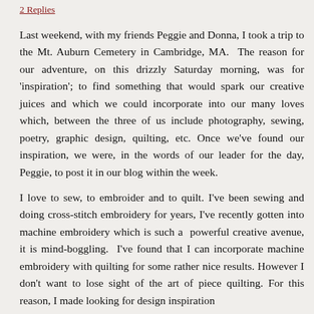2 Replies
Last weekend, with my friends Peggie and Donna, I took a trip to the Mt. Auburn Cemetery in Cambridge, MA. The reason for our adventure, on this drizzly Saturday morning, was for 'inspiration'; to find something that would spark our creative juices and which we could incorporate into our many loves which, between the three of us include photography, sewing, poetry, graphic design, quilting, etc. Once we've found our inspiration, we were, in the words of our leader for the day, Peggie, to post it in our blog within the week.
I love to sew, to embroider and to quilt. I've been sewing and doing cross-stitch embroidery for years, I've recently gotten into machine embroidery which is such a powerful creative avenue, it is mind-boggling. I've found that I can incorporate machine embroidery with quilting for some rather nice results. However I don't want to lose sight of the art of piece quilting. For this reason, I made looking for design inspiration